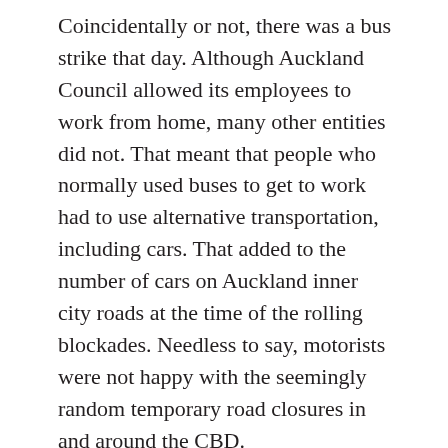Coincidentally or not, there was a bus strike that day. Although Auckland Council allowed its employees to work from home, many other entities did not. That meant that people who normally used buses to get to work had to use alternative transportation, including cars. That added to the number of cars on Auckland inner city roads at the time of the rolling blockades. Needless to say, motorists were not happy with the seemingly random temporary road closures in and around the CBD.
That is why things got too clever. As a tactical response to the police thwarting of the initial action, the move to rolling blockades was ingenious. But that bit of tactical ingenuity superseded the strategic objective, which was to draw attention to the extent of TPPA opposition. In fact, it appeared that the Sky City activists were trying to outdo each other in their attempts to make a point, but in doing so lost sight of the original point they were trying to make. After all, blocking people from leaving the city after the signing